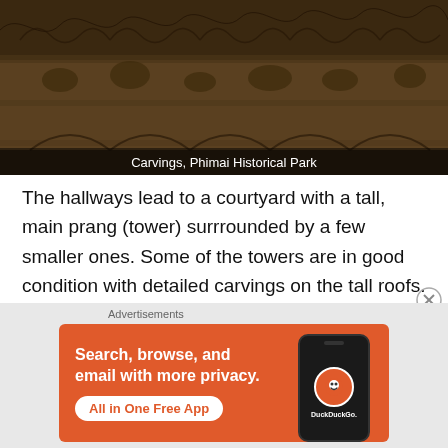[Figure (photo): Stone carvings at Phimai Historical Park — intricate relief carvings of foliage and figures on a stone architectural element]
Carvings, Phimai Historical Park
The hallways lead to a courtyard with a tall, main prang (tower) surrrounded by a few smaller ones. Some of the towers are in good condition with detailed carvings on the tall roofs. Other towers have fallen into disrepair. Inside each prang we found Buddha statues set in small alcoves. The statues are protected by a large naga head.
Advertisements
[Figure (screenshot): DuckDuckGo advertisement banner — orange background with text 'Search, browse, and email with more privacy. All in One Free App' and a phone mockup with DuckDuckGo logo]